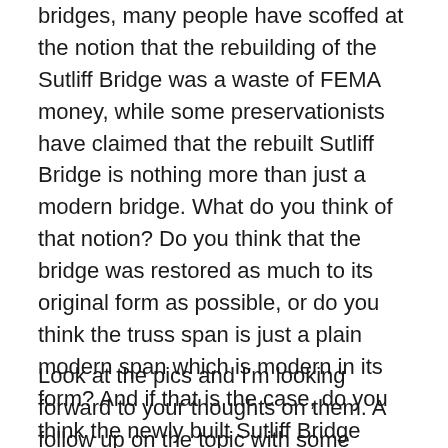bridges, many people have scoffed at the notion that the rebuilding of the Sutliff Bridge was a waste of FEMA money, while some preservationists have claimed that the rebuilt Sutliff Bridge is nothing more than just a modern bridge. What do you think of that notion? Do you think that the bridge was restored as much to its original form as possible, or do you think the truss span is just a plain modern span which is modern in its form? And if that is the case, do you think the newly built Sutliff Bridge represents a case where modern bridge meets historic bridge, and if so, do the rebuilt and original spans conform to each other or are they contrasting to each other?
Look at the pics and I'm looking forward to your thoughts on them. A follow up on the topic with some interview questions with parties involves will follow this article. Stay tuned.